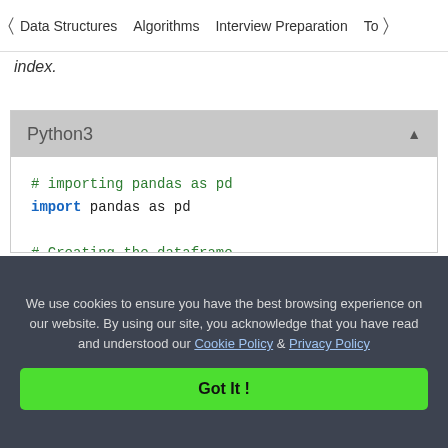< Data Structures   Algorithms   Interview Preparation   To>
index.
[Figure (screenshot): Python3 code editor block showing: # importing pandas as pd, import pandas as pd, # Creating the dataframe, df = pd.read_csv("nba.csv"), # Print the dataframe, df]
We use cookies to ensure you have the best browsing experience on our website. By using our site, you acknowledge that you have read and understood our Cookie Policy & Privacy Policy
Got It !